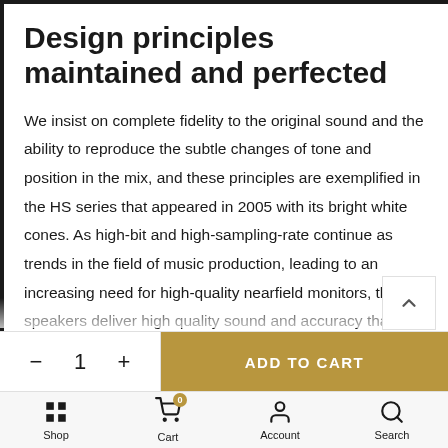Design principles maintained and perfected
We insist on complete fidelity to the original sound and the ability to reproduce the subtle changes of tone and position in the mix, and these principles are exemplified in the HS series that appeared in 2005 with its bright white cones. As high-bit and high-sampling-rate continue as trends in the field of music production, leading to an increasing need for high-quality nearfield monitors, these speakers deliver high quality sound and accuracy that are ideal for
[Figure (other): Scroll-up navigation button (chevron/caret pointing up) in a white box with border]
[Figure (other): Bottom action bar with quantity selector (minus, 1, plus) and gold ADD TO CART button]
[Figure (other): Bottom navigation bar with Shop, Cart (badge 0), Account, and Search icons and labels]